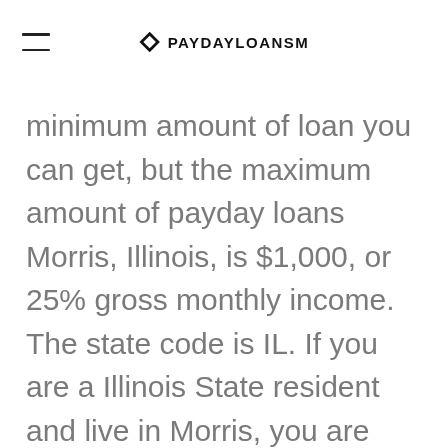PAYDAYLOANSM
minimum amount of loan you can get, but the maximum amount of payday loans Morris, Illinois, is $1,000, or 25% gross monthly income. The state code is IL. If you are a Illinois State resident and live in Morris, you are welcome to get payday loans of up to 1,000 dollars.